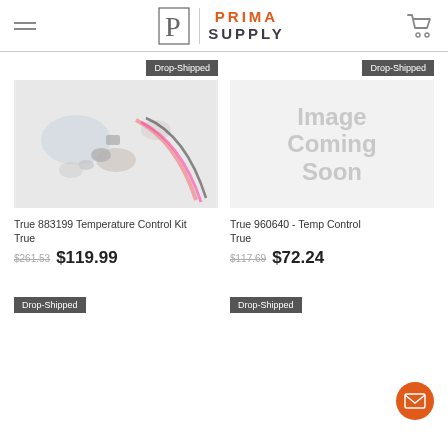Prima Supply
[Figure (photo): Product photo showing temperature control kit components including wires and small parts on white background]
[Figure (illustration): Image Coming Soon placeholder]
True 883199 Temperature Control Kit
True
$261.53  $119.99
True 960640 - Temp Control
True
$117.69  $72.24